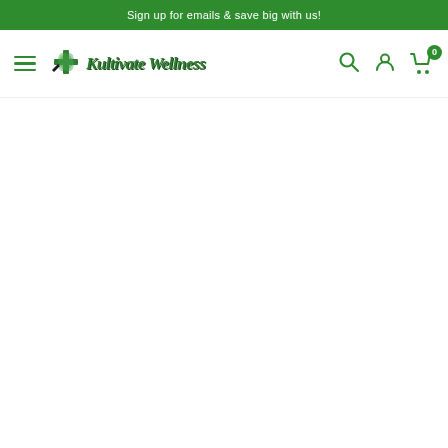Sign up for emails & save big with us!
[Figure (logo): Kultivate Wellness logo with green leaf/cross icon and stylized italic text]